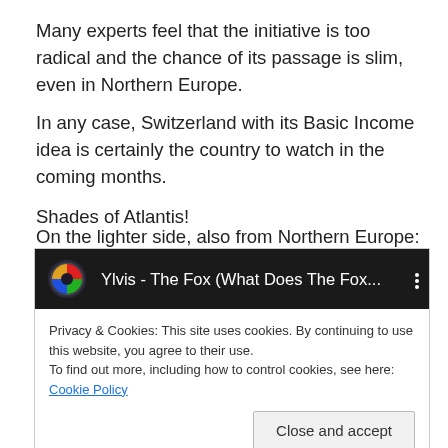Many experts feel that the initiative is too radical and the chance of its passage is slim, even in Northern Europe.
In any case, Switzerland with its Basic Income idea is certainly the country to watch in the coming months.
Shades of Atlantis!
On the lighter side, also from Northern Europe:
[Figure (screenshot): Embedded video player showing 'Ylvis - The Fox (What Does The Fox...' with a cookie consent overlay. The overlay states: 'Privacy & Cookies: This site uses cookies. By continuing to use this website, you agree to their use. To find out more, including how to control cookies, see here: Cookie Policy' with a 'Close and accept' button.]